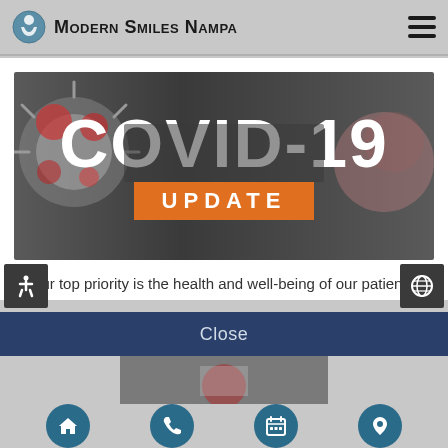Modern Smiles Nampa
[Figure (screenshot): COVID-19 UPDATE banner image with coronavirus imagery in background, bold white text reading COVID-19 and orange bar with white text UPDATE]
Our top priority is the health and well-being of our patients, families, staff, and community. In this unprecedented time, we are deeply committed to keeping everyone safe. In light of the evolving pandemic and out of an abundance of
Close